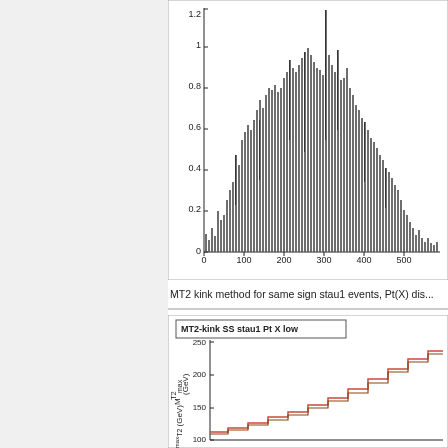[Figure (histogram): Histogram of MT2 kink values for same sign stau1 events, showing distribution of bars ranging from 0 to ~550 on x-axis and 0 to 1.2 on y-axis.]
MT2 kink method for same sign stau1 events, Pt(X) dis...
[Figure (line-chart): Step-function line chart showing MT2-kink SS stau1 Pt X low, with M_T2^max (GeV) on y-axis from ~100 to 300, two overlapping step-function lines (red/brown and another color).]